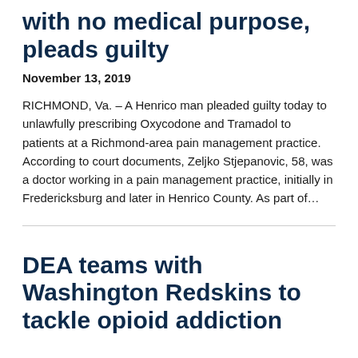with no medical purpose, pleads guilty
November 13, 2019
RICHMOND, Va. – A Henrico man pleaded guilty today to unlawfully prescribing Oxycodone and Tramadol to patients at a Richmond-area pain management practice. According to court documents, Zeljko Stjepanovic, 58, was a doctor working in a pain management practice, initially in Fredericksburg and later in Henrico County. As part of…
DEA teams with Washington Redskins to tackle opioid addiction